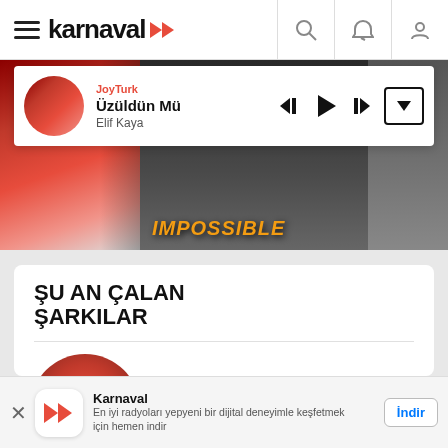karnaval
[Figure (screenshot): Karnaval music app player bar showing JoyTurk station playing Üzüldün Mü by Elif Kaya with playback controls]
[Figure (photo): Hero banner with IMPOSSIBLE text overlay and concert/artist imagery]
ŞU AN ÇALAN ŞARKILAR
[Figure (illustration): Album art circle for Nerdesin song on Süper FM radio station with yellow NERDESİN badge]
Süper FM
Nerdesin
[Figure (logo): Karnaval app install banner with red play icon and İndir (Download) button]
Karnaval
En iyi radyoları yepyeni bir dijital deneyimle keşfetmek için hemen indir
İndir